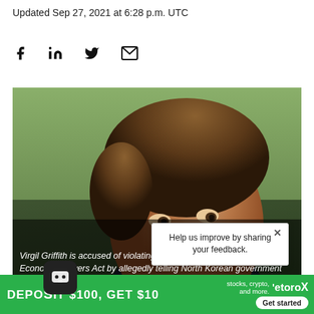Updated Sep 27, 2021 at 6:28 p.m. UTC
[Figure (infographic): Row of social share icons: Facebook, LinkedIn, Twitter, Email]
[Figure (photo): Close-up photo of Virgil Griffith, a young man with brown hair, looking sideways. Image credited via Wikimedia Commons.]
Virgil Griffith is accused of violating the International Emergency Economic Powers Act by allegedly telling North Korean government officials how to evade sanctions image via Wikimedia Commons
Help us improve by sharing your feedback.
[Figure (infographic): eToro advertisement banner: DEPOSIT $100, GET $10. Stocks, crypto, and more. Get started button.]